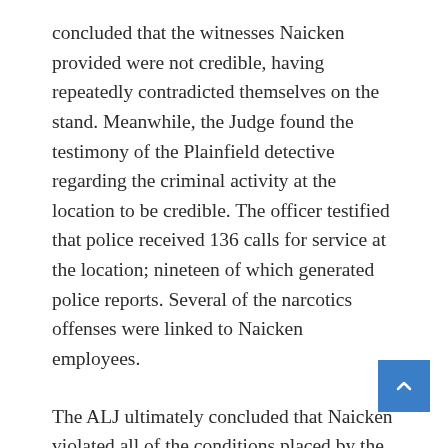concluded that the witnesses Naicken provided were not credible, having repeatedly contradicted themselves on the stand. Meanwhile, the Judge found the testimony of the Plainfield detective regarding the criminal activity at the location to be credible. The officer testified that police received 136 calls for service at the location; nineteen of which generated police reports. Several of the narcotics offenses were linked to Naicken employees.
The ALJ ultimately concluded that Naicken violated all of the conditions placed by the municipal council on the renewal of the 2011-2012 license term, citing that owner Vadrajan